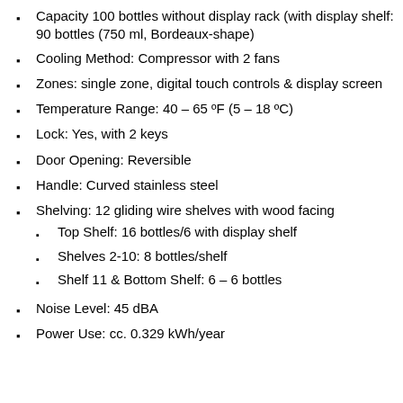Capacity 100 bottles without display rack (with display shelf: 90 bottles (750 ml, Bordeaux-shape)
Cooling Method: Compressor with 2 fans
Zones: single zone, digital touch controls & display screen
Temperature Range: 40 – 65 ºF (5 – 18 ºC)
Lock: Yes, with 2 keys
Door Opening: Reversible
Handle: Curved stainless steel
Shelving: 12 gliding wire shelves with wood facing
Top Shelf: 16 bottles/6 with display shelf
Shelves 2-10: 8 bottles/shelf
Shelf 11 & Bottom Shelf: 6 – 6 bottles
Noise Level: 45 dBA
Power Use: cc. 0.329 kWh/year